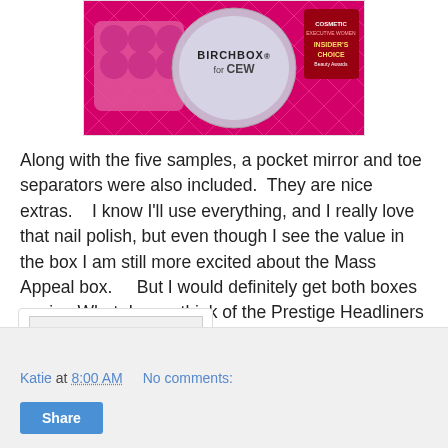[Figure (photo): Photo of Birchbox for CEW product with pink background, showing a circular compact mirror with 'BIRCHBOX for CEW' branding and a 'Cosmetic Executive Women Insider's Choice Beauty Awards' badge, alongside pink toe separators.]
Along with the five samples, a pocket mirror and toe separators were also included.  They are nice extras.   I know I'll use everything, and I really love that nail polish, but even though I see the value in the box I am still more excited about the Mass Appeal box.    But I would definitely get both boxes again.  What do you think of the Prestige Headliners box?  Did you get either of the Limited Edition boxes?
[Figure (illustration): Signature image of blogger Katie with a pink flower logo on the left and the name 'Katie' written in purple cursive script on a light gray background.]
Katie at 8:00 AM   No comments:   Share